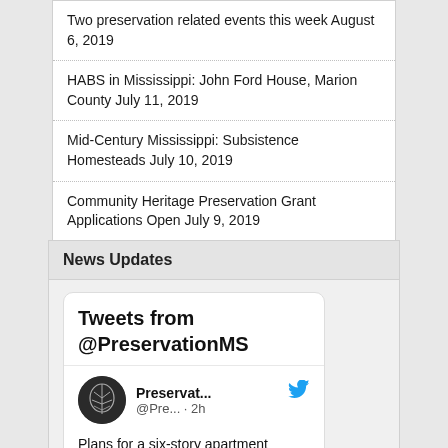Two preservation related events this week August 6, 2019
HABS in Mississippi: John Ford House, Marion County July 11, 2019
Mid-Century Mississippi: Subsistence Homesteads July 10, 2019
Community Heritage Preservation Grant Applications Open July 9, 2019
News Updates
[Figure (screenshot): Embedded Twitter widget showing tweets from @PreservationMS. Profile avatar is a circular logo with a leaf/tree design. Tweet by Preservat... @Pre... · 2h reading: Plans for a six-story apartment building on the Duling School property in...]